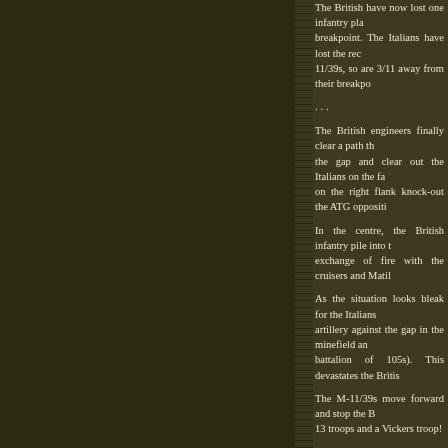The British have now lost one infantry platoon away from breakpoint. The Italians have lost the recce and 11/39s, so are 3/11 away from their breakpoint.
...
The British engineers finally clear a path through the gap and clear out the Italians on the far side, on the right flank knock-out the ATG opposition.
In the centre, the British infantry pile into the exchange of fire with the cruisers and Matildas.
As the situation looks bleak for the Italians, artillery against the gap in the minefield and battalion of 105s). This devastates the British.
The M-11/39s move forward and stop the British 13 troops and a Vickers troop!
Casualties
The British have now lost six infantry platoons, troop, so are now 11/20 away from their breakpoint. infantry platoons, one ATG platoon and t